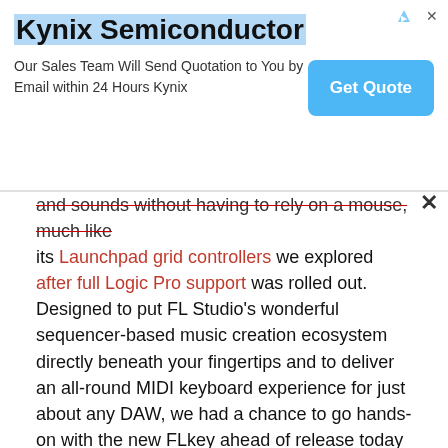[Figure (screenshot): Advertisement banner for Kynix Semiconductor with title, description text, and 'Get Quote' button]
and sounds without having to rely on a mouse, much like its Launchpad grid controllers we explored after full Logic Pro support was rolled out. Designed to put FL Studio's wonderful sequencer-based music creation ecosystem directly beneath your fingertips and to deliver an all-round MIDI keyboard experience for just about any DAW, we had a chance to go hands-on with the new FLkey ahead of release today to see what it was capable of. Head below for a closer look at our impressions of the new FL Studio keyboard controller in the latest Tested with 9to5Toys.